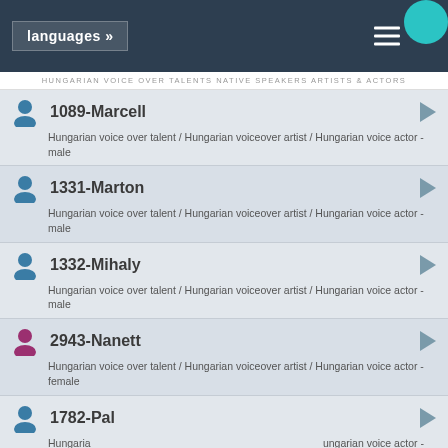languages »
HUNGARIAN VOICE OVER TALENTS NATIVE SPEAKERS ARTISTS & ACTORS
1089-Marcell — Hungarian voice over talent / Hungarian voiceover artist / Hungarian voice actor - male
1331-Marton — Hungarian voice over talent / Hungarian voiceover artist / Hungarian voice actor - male
1332-Mihaly — Hungarian voice over talent / Hungarian voiceover artist / Hungarian voice actor - male
2943-Nanett — Hungarian voice over talent / Hungarian voiceover artist / Hungarian voice actor - female
1782-Pal — Hungarian voice over talent / Hungarian voiceover artist / Hungarian voice actor - male